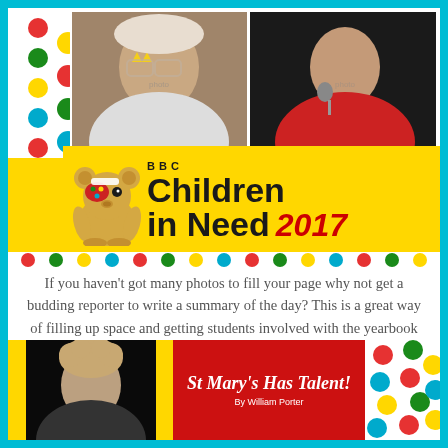[Figure (illustration): BBC Children in Need 2017 banner with Pudsey bear logo, colorful polka dot background, and two photos of performers at the top.]
If you haven't got many photos to fill your page why not get a budding reporter to write a summary of the day? This is a great way of filling up space and getting students involved with the yearbook process!
[Figure (illustration): Bottom section showing a performer photo on yellow background, red panel with 'St Mary's Has Talent!' text by William Porter, and polka dot section.]